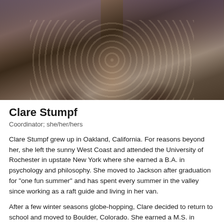[Figure (photo): Photo of Clare Stumpf from shoulders up, wearing a dark patterned shirt with floral/paisley design, long hair visible on both sides. Background appears to be outdoors.]
Clare Stumpf
Coordinator; she/her/hers
Clare Stumpf grew up in Oakland, California. For reasons beyond her, she left the sunny West Coast and attended the University of Rochester in upstate New York where she earned a B.A. in psychology and philosophy. She moved to Jackson after graduation for “one fun summer” and has spent every summer in the valley since working as a raft guide and living in her van.
After a few winter seasons globe-hopping, Clare decided to return to school and moved to Boulder, Colorado. She earned a M.S. in Environmental Policy from the University of Colorado, where she worked on municipalizing Boulder’s energy supply, registering young voters, and interning for a food justice non-